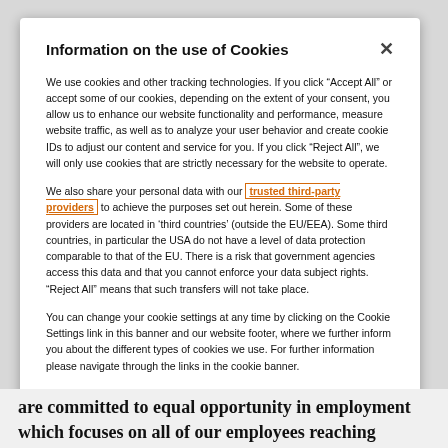Information on the use of Cookies
We use cookies and other tracking technologies. If you click “Accept All” or accept some of our cookies, depending on the extent of your consent, you allow us to enhance our website functionality and performance, measure website traffic, as well as to analyze your user behavior and create cookie IDs to adjust our content and service for you. If you click “Reject All”, we will only use cookies that are strictly necessary for the website to operate.
We also share your personal data with our trusted third-party providers to achieve the purposes set out herein. Some of these providers are located in ‘third countries’ (outside the EU/EEA). Some third countries, in particular the USA do not have a level of data protection comparable to that of the EU. There is a risk that government agencies access this data and that you cannot enforce your data subject rights. “Reject All” means that such transfers will not take place.
You can change your cookie settings at any time by clicking on the Cookie Settings link in this banner and our website footer, where we further inform you about the different types of cookies we use. For further information please navigate through the links in the cookie banner.
See also: Privacy notice  Cookie notice  Imprint
are committed to equal opportunity in employment which focuses on all of our employees reaching